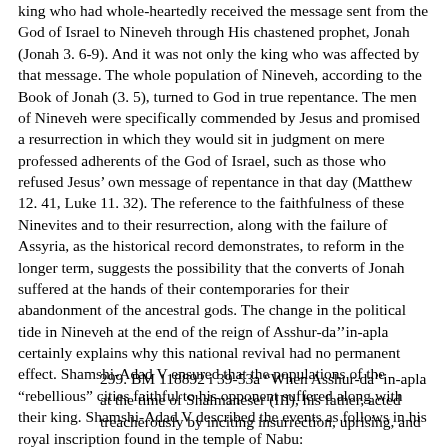king who had whole-heartedly received the message sent from the God of Israel to Nineveh through His chastened prophet, Jonah (Jonah 3. 6-9). And it was not only the king who was affected by that message. The whole population of Nineveh, according to the Book of Jonah (3. 5), turned to God in true repentance. The men of Nineveh were specifically commended by Jesus and promised a resurrection in which they would sit in judgment on mere professed adherents of the God of Israel, such as those who refused Jesus' own message of repentance in that day (Matthew 12. 41, Luke 11. 32). The reference to the faithfulness of these Ninevites and to their resurrection, along with the failure of Assyria, as the historical record demonstrates, to reform in the longer term, suggests the possibility that the converts of Jonah suffered at the hands of their contemporaries for their abandonment of the ancestral gods. The change in the political tide in Nineveh at the end of the reign of Asshur-da''in-apla certainly explains why this national revival had no permanent effect. Shamshi-Adad V ensured that the populations of the “rebellious” cities faithful to his opponent suffered along with their king. Shamshi-Adad V described the events as follows in his royal inscription found in the temple of Nabu:
299. BM 118892 i 39-53a “When Asshur-da’’in-apla at the time of Shalmaneser (III), his father, acted treacherously by inciting insurrection, uprising, and